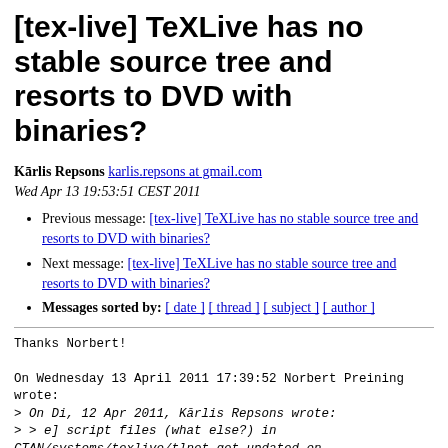[tex-live] TeXLive has no stable source tree and resorts to DVD with binaries?
Kārlis Repsons karlis.repsons at gmail.com
Wed Apr 13 19:53:51 CEST 2011
Previous message: [tex-live] TeXLive has no stable source tree and resorts to DVD with binaries?
Next message: [tex-live] TeXLive has no stable source tree and resorts to DVD with binaries?
Messages sorted by: [ date ] [ thread ] [ subject ] [ author ]
Thanks Norbert!

On Wednesday 13 April 2011 17:39:52 Norbert Preining wrote:
> On Di, 12 Apr 2011, Kārlis Repsons wrote:
> > e] script files (what else?) in CTAN/systems/texlive/tlnet get updated on
> > a regular basis to provide bugfixes? What about further improvements,